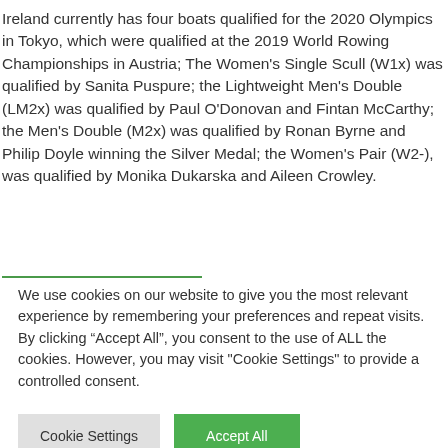Ireland currently has four boats qualified for the 2020 Olympics in Tokyo, which were qualified at the 2019 World Rowing Championships in Austria; The Women's Single Scull (W1x) was qualified by Sanita Puspure; the Lightweight Men's Double (LM2x) was qualified by Paul O'Donovan and Fintan McCarthy; the Men's Double (M2x) was qualified by Ronan Byrne and Philip Doyle winning the Silver Medal; the Women's Pair (W2-), was qualified by Monika Dukarska and Aileen Crowley.
We use cookies on our website to give you the most relevant experience by remembering your preferences and repeat visits. By clicking "Accept All", you consent to the use of ALL the cookies. However, you may visit "Cookie Settings" to provide a controlled consent.